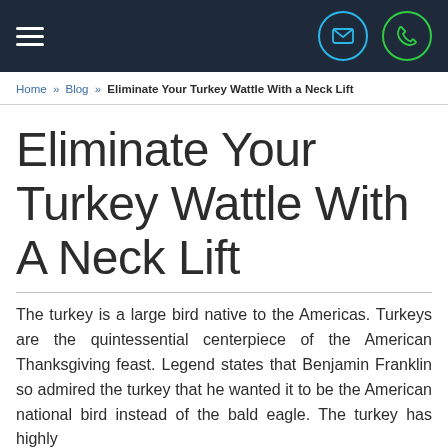☰  ✉  ✆
Home » Blog » Eliminate Your Turkey Wattle With a Neck Lift
Eliminate Your Turkey Wattle With A Neck Lift
The turkey is a large bird native to the Americas. Turkeys are the quintessential centerpiece of the American Thanksgiving feast. Legend states that Benjamin Franklin so admired the turkey that he wanted it to be the American national bird instead of the bald eagle. The turkey has highly